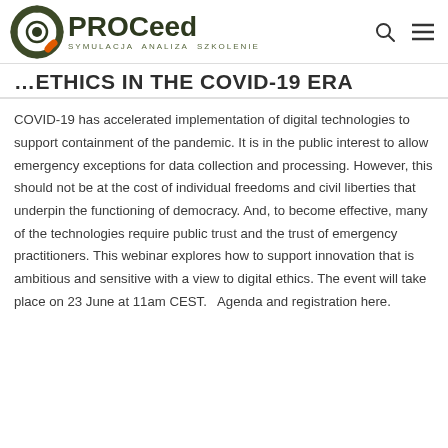PROCeed SYMULACJA ANALIZA SZKOLENIE
ETHICS IN THE COVID-19 ERA
COVID-19 has accelerated implementation of digital technologies to support containment of the pandemic. It is in the public interest to allow emergency exceptions for data collection and processing. However, this should not be at the cost of individual freedoms and civil liberties that underpin the functioning of democracy. And, to become effective, many of the technologies require public trust and the trust of emergency practitioners. This webinar explores how to support innovation that is ambitious and sensitive with a view to digital ethics. The event will take place on 23 June at 11am CEST.   Agenda and registration here.